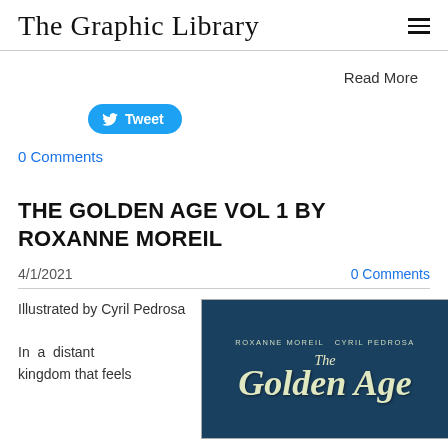The Graphic Library
Read More
[Figure (other): Tweet button with Twitter bird icon]
0 Comments
THE GOLDEN AGE VOL 1 BY ROXANNE MOREIL
4/1/2021
0 Comments
Illustrated by Cyril Pedrosa

In a distant kingdom that feels
[Figure (illustration): Book cover of The Golden Age by Roxanne Moreil and Cyril Pedrosa, dark blue background with illustrated figures, title in large serif italic font]